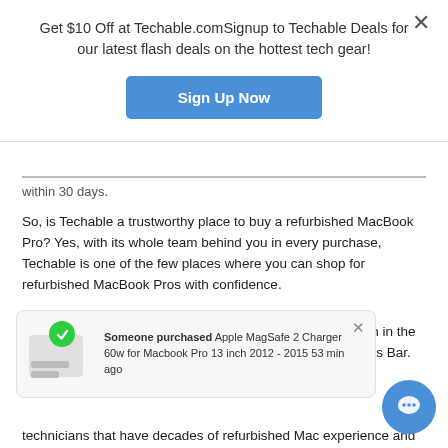Get $10 Off at Techable.comSignup to Techable Deals for our latest flash deals on the hottest tech gear!
[Figure (other): Sign Up Now button (blue rounded rectangle)]
within 30 days.
So, is Techable a trustworthy place to buy a refurbished MacBook Pro? Yes, with its whole team behind you in every purchase, Techable is one of the few places where you can shop for refurbished MacBook Pros with confidence.
We Specialize in Macbook Pro Refurbishing. We have been in the industry for a decade and know Macs better than the Genius Bar.
[Figure (screenshot): Purchase notification popup: Someone purchased Apple MagSafe 2 Charger 60w for Macbook Pro 13 inch 2012 - 2015 53 min ago. Green checkmark icon and product image thumbnail.]
technicians that have decades of refurbished Mac experience and